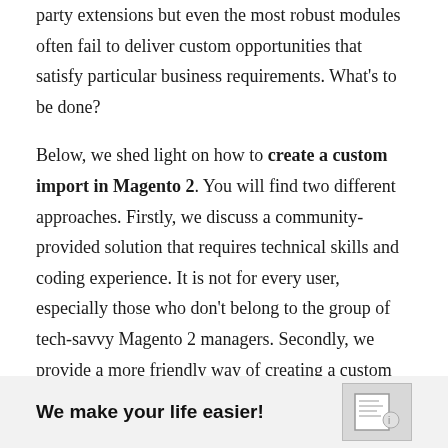party extensions but even the most robust modules often fail to deliver custom opportunities that satisfy particular business requirements. What's to be done?

Below, we shed light on how to create a custom import in Magento 2. You will find two different approaches. Firstly, we discuss a community-provided solution that requires technical skills and coding experience. It is not for every user, especially those who don't belong to the group of tech-savvy Magento 2 managers. Secondly, we provide a more friendly way of creating a custom import in Magento 2. It is based on the Improved Import & Export extension and involves no coding on the side of the extension's end user. Before we proceed, check more useful tips here: Magento 2 Cookbook.
[Figure (infographic): Promotional box with text 'We make your life easier!' and a small document/image thumbnail on the right]